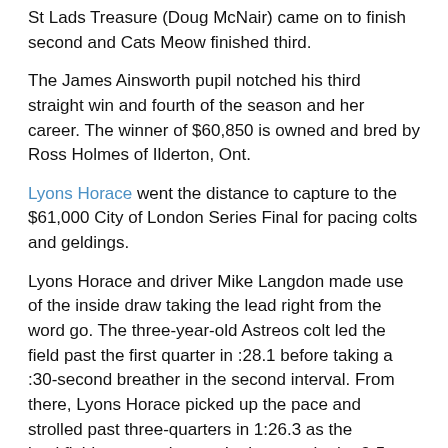St Lads Treasure (Doug McNair) came on to finish second and Cats Meow finished third.
The James Ainsworth pupil notched his third straight win and fourth of the season and her career. The winner of $60,850 is owned and bred by Ross Holmes of Ilderton, Ont.
Lyons Horace went the distance to capture to the $61,000 City of London Series Final for pacing colts and geldings.
Lyons Horace and driver Mike Langdon made use of the inside draw taking the lead right from the word go. The three-year-old Astreos colt led the field past the first quarter in :28.1 before taking a :30-second breather in the second interval. From there, Lyons Horace picked up the pace and strolled past three-quarters in 1:26.3 as the backfield was gearing up. In the stretch, the 3-5 favourite managed to hold off a quick-closing Greystone Cash (Anthony Haughan), who made a three-wide move at the third check in point. Lyons Horace clocked the mile in a career-best 1:55 winning by a neck. The pocket-sitting Great Luck (Mike Sumner) finished back in third.